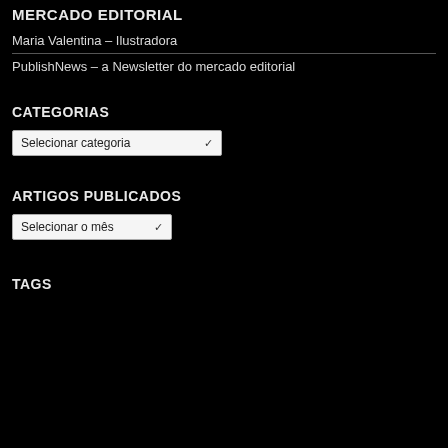MERCADO EDITORIAL
Maria Valentina – Ilustradora
PublishNews – a Newsletter do mercado editorial
CATEGORIAS
Selecionar categoria
ARTIGOS PUBLICADOS
Selecionar o mês
TAGS